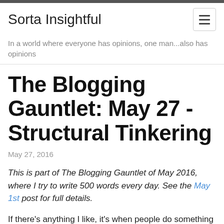Sorta Insightful
In a world where everyone has opinions, one man...also has opinions
The Blogging Gauntlet: May 27 - Structural Tinkering
May 27, 2016
This is part of The Blogging Gauntlet of May 2016, where I try to write 500 words every day. See the May 1st post for full details.
If there's anything I like, it's when people do something interesting with structure.